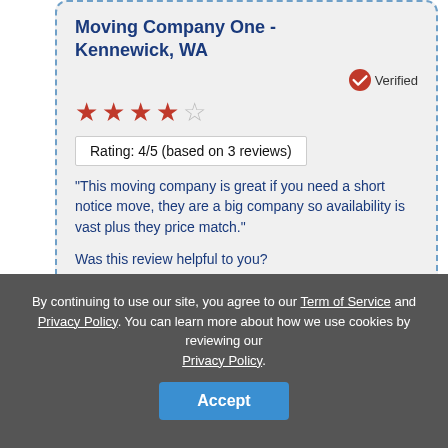Moving Company One - Kennewick, WA
[Figure (other): Verified badge icon with checkmark]
[Figure (other): 4 out of 5 stars rating displayed in red]
Rating: 4/5 (based on 3 reviews)
"This moving company is great if you need a short notice move, they are a big company so availability is vast plus they price match."
Was this review helpful to you?
Carman Nguyen
By continuing to use our site, you agree to our Term of Service and Privacy Policy. You can learn more about how we use cookies by reviewing our Privacy Policy.
[Figure (other): 4 out of 5 stars partially visible behind cookie banner]